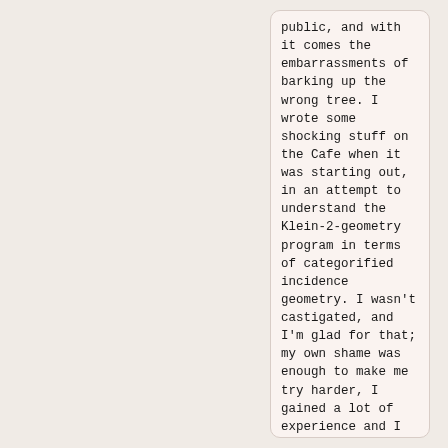public, and with it comes the embarrassments of barking up the wrong tree. I wrote some shocking stuff on the Cafe when it was starting out, in an attempt to understand the Klein-2-geometry program in terms of categorified incidence geometry. I wasn't castigated, and I'm glad for that; my own shame was enough to make me try harder, I gained a lot of experience and I have a nice research program up my sleeve from insights gained in the process.</p>